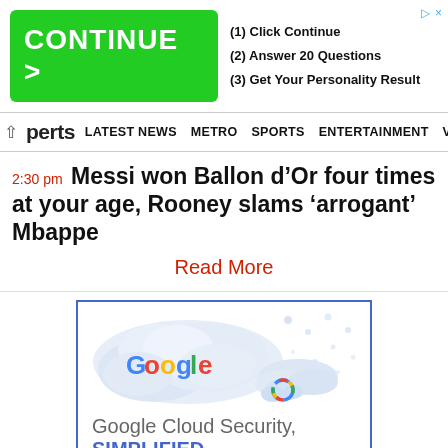[Figure (screenshot): Green CONTINUE > button advertisement banner with steps: (1) Click Continue, (2) Answer 20 Questions, (3) Get Your Personality Result]
LATEST NEWS  METRO  SPORTS  ENTERTAINMENT  VIDEOS
Sports
2:30 pm Messi won Ballon d’Or four times at your age, Rooney slams ‘arrogant’ Mbappe
Read More
[Figure (screenshot): Google Cloud Security, SIMPLIFIED. advertisement with Google Cloud logo and cloud imagery]